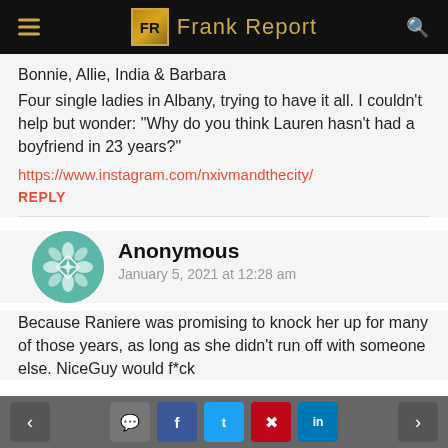Frank Report
Bonnie, Allie, India & Barbara
Four single ladies in Albany, trying to have it all. I couldn't help but wonder: "Why do you think Lauren hasn't had a boyfriend in 23 years?"
https://www.instagram.com/nxivmandthecity/
REPLY
Anonymous
January 5, 2021 at 12:28 am
Because Raniere was promising to knock her up for many of those years, as long as she didn't run off with someone else. NiceGuy would f*ck
< [comment] [f] [t] [p] [in] >